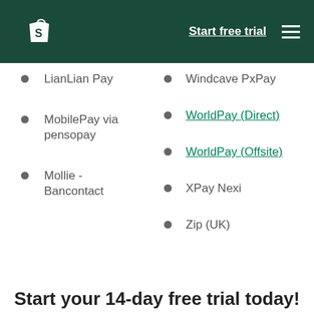Shopify — Start free trial
Windcave PxPay
LianLian Pay
WorldPay (Direct)
MobilePay via pensopay
WorldPay (Offsite)
Mollie - Bancontact
XPay Nexi
Zip (UK)
Start your 14-day free trial today!